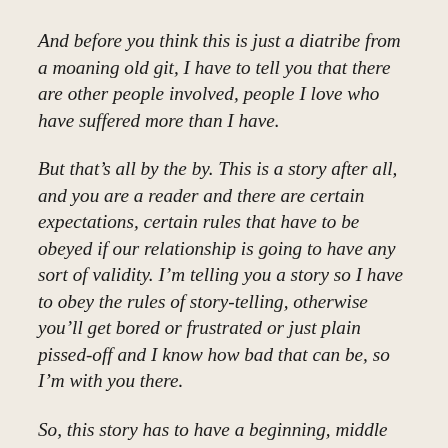And before you think this is just a diatribe from a moaning old git, I have to tell you that there are other people involved, people I love who have suffered more than I have.
But that's all by the by. This is a story after all, and you are a reader and there are certain expectations, certain rules that have to be obeyed if our relationship is going to have any sort of validity. I'm telling you a story so I have to obey the rules of story-telling, otherwise you'll get bored or frustrated or just plain pissed-off and I know how bad that can be, so I'm with you there.
So, this story has to have a beginning, middle and end. Fine, I can go along with that, especially now